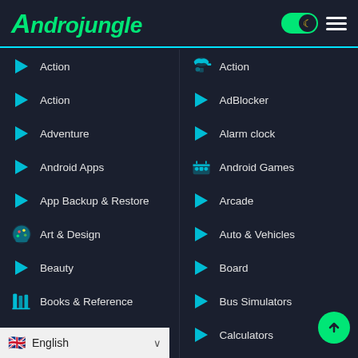Androjungle
Action
Action
Adventure
Android Apps
App Backup & Restore
Art & Design
Beauty
Books & Reference
Business
Action
AdBlocker
Alarm clock
Android Games
Arcade
Auto & Vehicles
Board
Bus Simulators
Calculators
Card